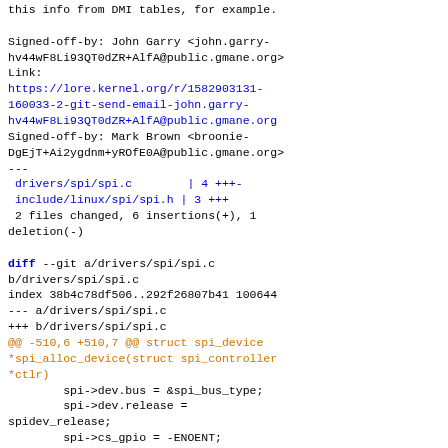this info from DMI tables, for example.

Signed-off-by: John Garry <john.garry-hv44wF8Li93QT0dZR+AlfA@public.gmane.org>
Link:
https://lore.kernel.org/r/1582903131-160033-2-git-send-email-john.garry-hv44wF8Li93QT0dZR+AlfA@public.gmane.org
Signed-off-by: Mark Brown <broonie-DgEjT+Ai2ygdnm+yROfE0A@public.gmane.org>
---
 drivers/spi/spi.c        | 4 +++- 
 include/linux/spi/spi.h | 3 +++
 2 files changed, 6 insertions(+), 1 deletion(-)

diff --git a/drivers/spi/spi.c b/drivers/spi/spi.c
index 38b4c78df506..292f26807b41 100644
--- a/drivers/spi/spi.c
+++ b/drivers/spi/spi.c
@@ -510,6 +510,7 @@ struct spi_device *spi_alloc_device(struct spi_controller *ctlr)
        spi->dev.bus = &spi_bus_type;
        spi->dev.release = spidev_release;
        spi->cs_gpio = -ENOENT;
+       spi->mode = ctlr->buswidth_override_bits;